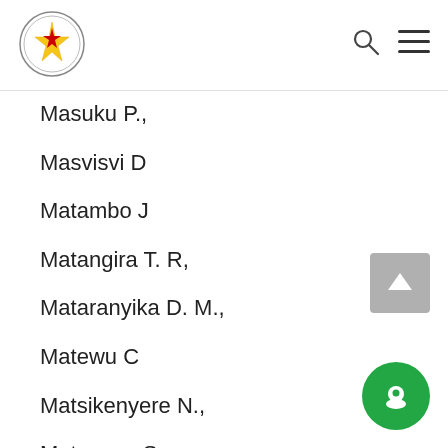Parliament of Zimbabwe
Masuku P.,
Masvisvi D
Matambo J
Matangira T. R,
Mataranyika D. M.,
Matewu C
Matsikenyere N.,
Matsunga S
Mavenyengwa R.,
Mavetera T. A.,
Mawite D.,